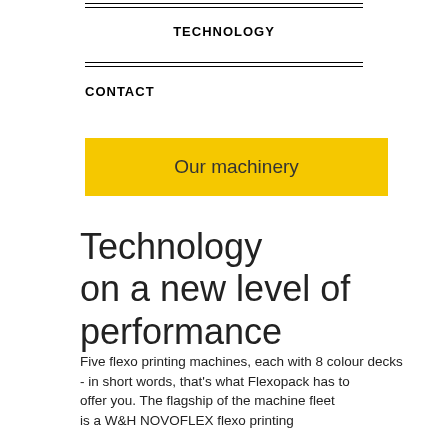TECHNOLOGY
CONTACT
Our machinery
Technology on a new level of performance
Five flexo printing machines, each with 8 colour decks - in short words, that's what Flexopack has to offer you. The flagship of the machine fleet is a W&H NOVOFLEX flexo printing